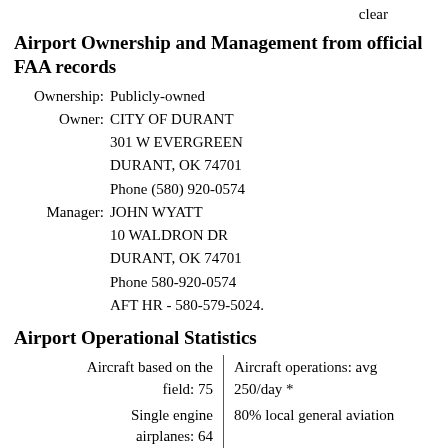clear
Airport Ownership and Management from official FAA records
Ownership: Publicly-owned
Owner: CITY OF DURANT
301 W EVERGREEN
DURANT, OK 74701
Phone (580) 920-0574
Manager: JOHN WYATT
10 WALDRON DR
DURANT, OK 74701
Phone 580-920-0574
AFT HR - 580-579-5024.
Airport Operational Statistics
| Left | Right |
| --- | --- |
| Aircraft based on the field: 75 | Aircraft operations: avg 250/day * |
| Single engine airplanes: 64 | 80% local general aviation |
| Multi engine airplanes: 7 | 20% transient general aviation |
|  | <1% military |
|  | * for 12-month period ending 15 |